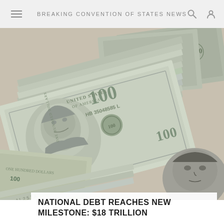BREAKING CONVENTION OF STATES NEWS
[Figure (photo): Stack of US $100 bills piled high, photographed in black and white with Benjamin Franklin's portrait visible. Additional currency visible in background including what appears to be a person's face in lower right.]
NATIONAL DEBT REACHES NEW MILESTONE: $18 TRILLION